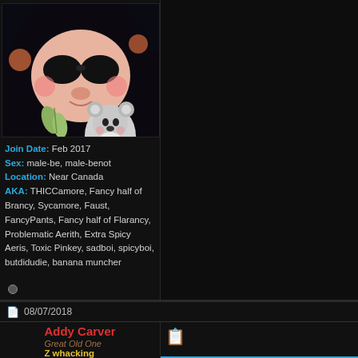[Figure (photo): Profile avatar photo: person with dark hair, panda face filter, koala sticker overlay on dark background.]
Join Date: Feb 2017
Sex: male-be, male-benot
Location: Near Canada
AKA: THICCamore, Fancy half of Brancy, Sycamore, Faust, FancyPants, Fancy half of Flarancy, Problematic Aerith, Extra Spicy Aeris, Toxic Pinkey, sadboi, spicyboi, butdidudie, banana muncher
08/07/2018
Addy Carver
Great Old One
Z whacking